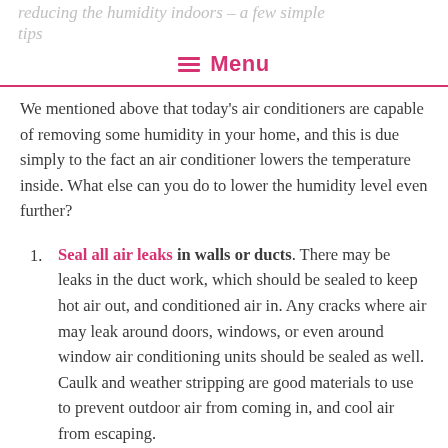reducing the humidity indoors – a few simple tips   Menu
We mentioned above that today's air conditioners are capable of removing some humidity in your home, and this is due simply to the fact an air conditioner lowers the temperature inside. What else can you do to lower the humidity level even further?
Seal all air leaks in walls or ducts. There may be leaks in the duct work, which should be sealed to keep hot air out, and conditioned air in. Any cracks where air may leak around doors, windows, or even around window air conditioning units should be sealed as well. Caulk and weather stripping are good materials to use to prevent outdoor air from coming in, and cool air from escaping.